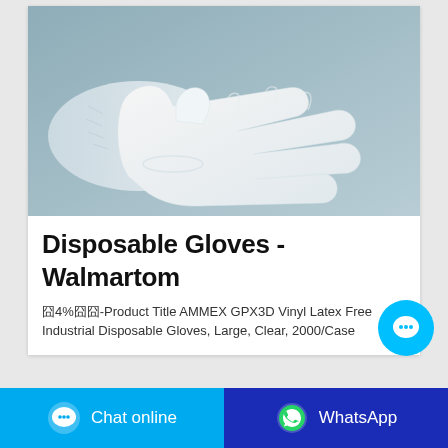[Figure (photo): A white disposable glove worn on a hand/wrist, extended fingers pointing right, against a blue-grey background.]
Disposable Gloves - Walmartom
囧4%囧囧-Product Title AMMEX GPX3D Vinyl Latex Free Industrial Disposable Gloves, Large, Clear, 2000/Case
[Figure (illustration): Cyan circular chat bubble floating button with ellipsis icon]
Chat online
WhatsApp